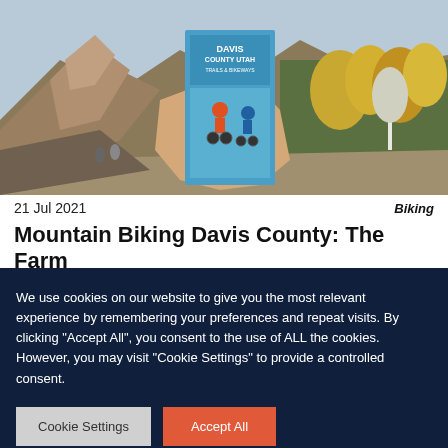[Figure (photo): A hand holding a Davis County Utah Trails & Bikeways brochure in front of an autumn mountain landscape with yellow trees and rocky hills. The brochure shows two mountain bikers.]
21 Jul 2021
Biking
Mountain Biking Davis County: The Farm
We use cookies on our website to give you the most relevant experience by remembering your preferences and repeat visits. By clicking "Accept All", you consent to the use of ALL the cookies. However, you may visit "Cookie Settings" to provide a controlled consent.
Cookie Settings
Accept All